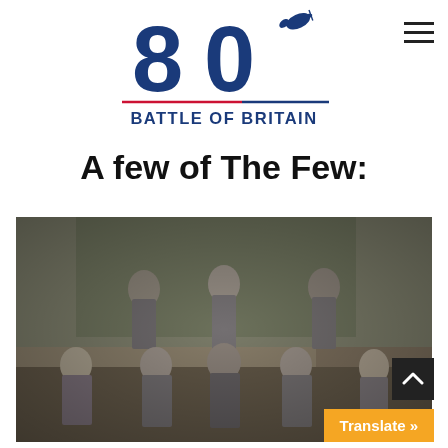[Figure (logo): Battle of Britain 80th anniversary logo with large '80' numeral and silhouette of a Spitfire aircraft, with text 'BATTLE OF BRITAIN' beneath a red-white-blue line]
A few of The Few:
[Figure (photo): A colorized historical photograph of a group of RAF pilots in uniform, posed outside a building with ivy-covered walls. Some are standing, some seated in chairs. Approximately 8 men visible.]